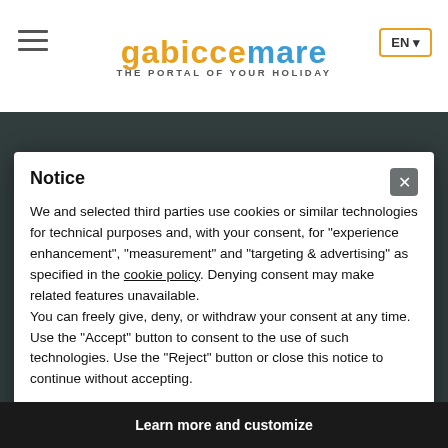gabiccemare — THE PORTAL OF YOUR HOLIDAY
Notice
We and selected third parties use cookies or similar technologies for technical purposes and, with your consent, for "experience enhancement", "measurement" and "targeting & advertising" as specified in the cookie policy. Denying consent may make related features unavailable.
You can freely give, deny, or withdraw your consent at any time.
Use the "Accept" button to consent to the use of such technologies. Use the "Reject" button or close this notice to continue without accepting.
Reject
Accept
Learn more and customize